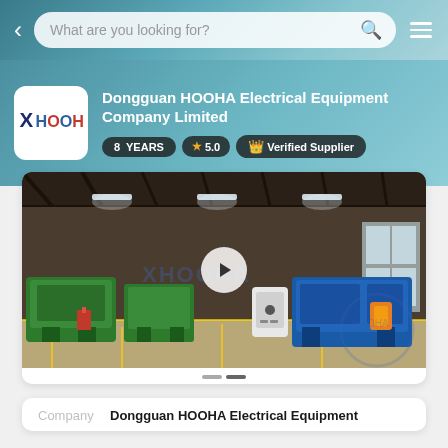What are you looking for?
Dongguan HOOHA Electrical Equipment Company Limited
8 YEARS | ★ 5.0 | 👑 Verified Supplier
[Figure (photo): Factory floor video thumbnail showing industrial cable machinery with green and blue machines, high ceiling warehouse. Play button overlay and HOOHA logo watermark visible.]
Company   Dongguan HOOHA Electrical Equipment